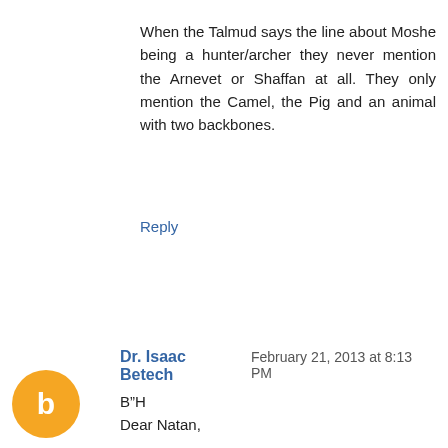When the Talmud says the line about Moshe being a hunter/archer they never mention the Arnevet or Shaffan at all. They only mention the Camel, the Pig and an animal with two backbones.
Reply
[Figure (illustration): Orange circle avatar with white blogger 'B' icon]
Dr. Isaac Betech  February 21, 2013 at 8:13 PM
B"H
Dear Natan,

NS wrote:
“Well, you can find the names of two zoologists in my book…”

NS wrote:
…And please stop wasting my time.

IB:
As explained above, I looked in your book for those